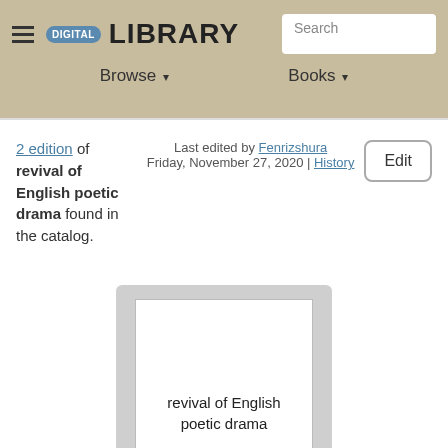DIGITAL LIBRARY — Search | Browse | Books
2 edition of revival of English poetic drama found in the catalog.
Last edited by Fenrizshura
Friday, November 27, 2020 | History
Edit
[Figure (illustration): Book cover placeholder showing 'revival of English poetic drama' by H. H. Annah Gowda, displayed as a white card on a grey background.]